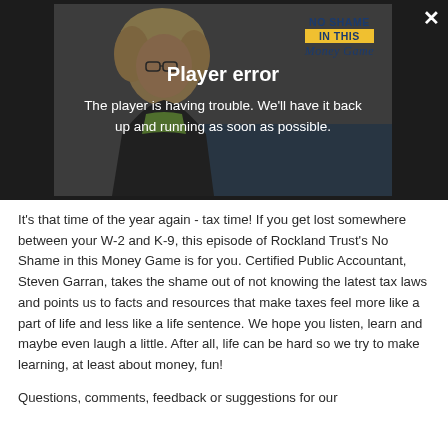[Figure (screenshot): Video player showing a woman with curly blonde hair and glasses, with 'NO SHAME IN THIS Money Game' branding. A player error overlay is displayed with the message 'Player error' and 'The player is having trouble. We'll have it back up and running as soon as possible.' A close (×) button appears in the top right.]
It's that time of the year again - tax time! If you get lost somewhere between your W-2 and K-9, this episode of Rockland Trust's No Shame in this Money Game is for you. Certified Public Accountant, Steven Garran, takes the shame out of not knowing the latest tax laws and points us to facts and resources that make taxes feel more like a part of life and less like a life sentence. We hope you listen, learn and maybe even laugh a little. After all, life can be hard so we try to make learning, at least about money, fun!
Questions, comments, feedback or suggestions for our